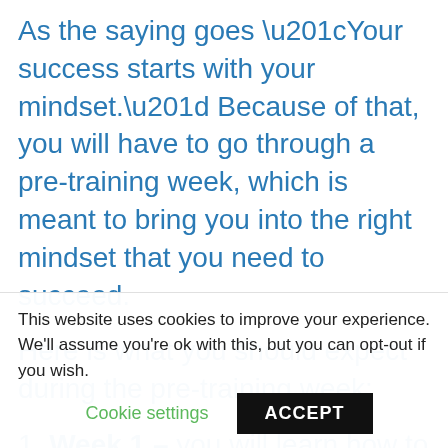As the saying goes “Your success starts with your mindset.” Because of that, you will have to go through a pre-training week, which is meant to bring you into the right mindset that you need to succeed.
Here is what you should expect during the pre-training week:
1. Week 1 – you will learn how to make a good offer. People will always buy from you if they know you have a good...
This website uses cookies to improve your experience. We'll assume you're ok with this, but you can opt-out if you wish.